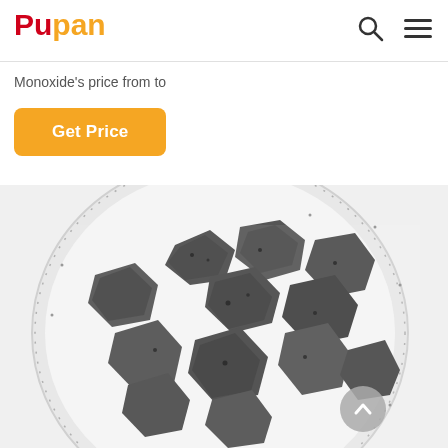Pupan
Monoxide's price from to
Get Price
[Figure (photo): A white bowl/colander viewed from above, filled with dark grey/black porous mineral chunks (silicon carbide or similar material), photographed on white background.]
Free Chat